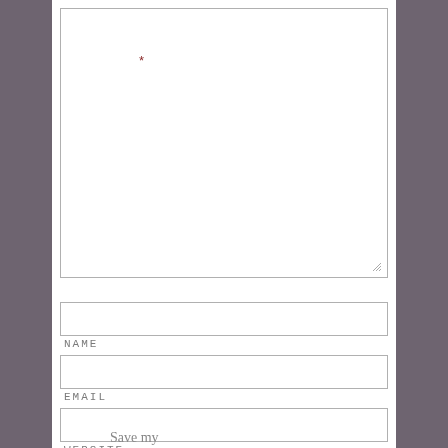COMMENT
*
NAME
EMAIL
WEBSITE
Save my